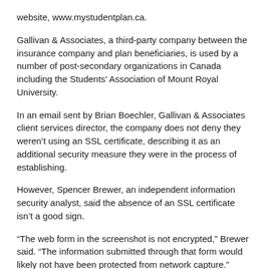website, www.mystudentplan.ca.
Gallivan & Associates, a third-party company between the insurance company and plan beneficiaries, is used by a number of post-secondary organizations in Canada including the Students' Association of Mount Royal University.
In an email sent by Brian Boechler, Gallivan & Associates client services director, the company does not deny they weren't using an SSL certificate, describing it as an additional security measure they were in the process of establishing.
However, Spencer Brewer, an independent information security analyst, said the absence of an SSL certificate isn't a good sign.
“The web form in the screenshot is not encrypted,” Brewer said. “The information submitted through that form would likely not have been protected from network capture.”
He noted that there could be other methods of protecting the information in place, but SSL is the most common and that is what people should look for when submitting information via web form.